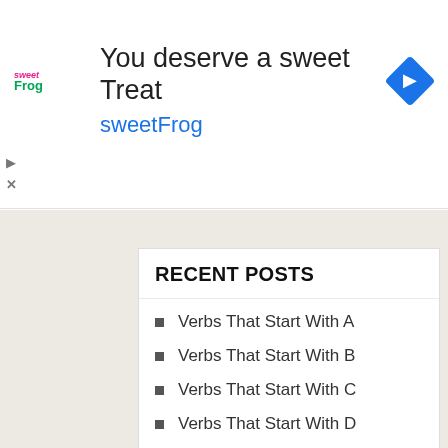[Figure (other): sweetFrog advertisement banner with logo, headline 'You deserve a sweet Treat', brand name 'sweetFrog', and navigation icon]
RECENT POSTS
Verbs That Start With A
Verbs That Start With B
Verbs That Start With C
Verbs That Start With D
Verbs That Start With E
CATEGORIES
A to Z Adverbs